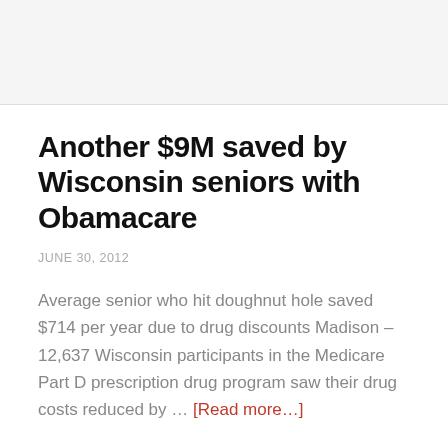Another $9M saved by Wisconsin seniors with Obamacare
JUNE 30, 2012
Average senior who hit doughnut hole saved $714 per year due to drug discounts Madison – 12,637 Wisconsin participants in the Medicare Part D prescription drug program saw their drug costs reduced by … [Read more…]